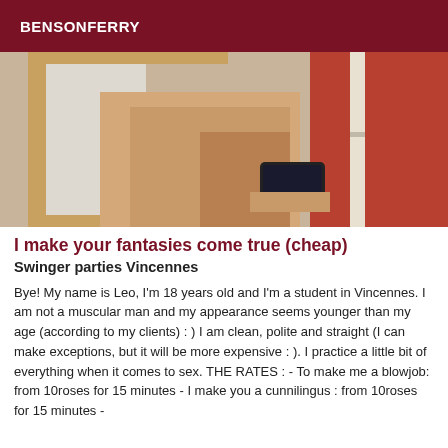BENSONFERRY
[Figure (photo): A person taking a mirror selfie, partially clothed, holding a smartphone]
I make your fantasies come true (cheap)
Swinger parties Vincennes
Bye! My name is Leo, I'm 18 years old and I'm a student in Vincennes. I am not a muscular man and my appearance seems younger than my age (according to my clients) : ) I am clean, polite and straight (I can make exceptions, but it will be more expensive : ). I practice a little bit of everything when it comes to sex. THE RATES : - To make me a blowjob: from 10roses for 15 minutes - I make you a cunnilingus : from 10roses for 15 minutes -